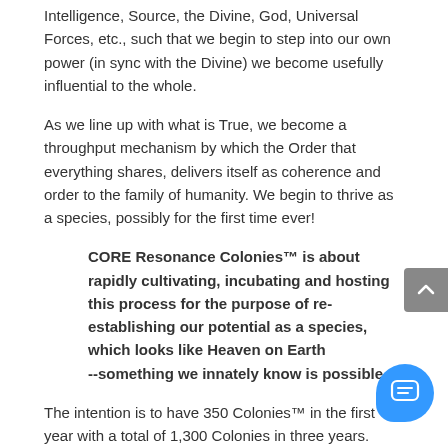Intelligence, Source, the Divine, God, Universal Forces, etc., such that we begin to step into our own power (in sync with the Divine) we become usefully influential to the whole.
As we line up with what is True, we become a throughput mechanism by which the Order that everything shares, delivers itself as coherence and order to the family of humanity. We begin to thrive as a species, possibly for the first time ever!
CORE Resonance Colonies™ is about rapidly cultivating, incubating and hosting this process for the purpose of re-establishing our potential as a species, which looks like Heaven on Earth --something we innately know is possible.
The intention is to have 350 Colonies™ in the first year with a total of 1,300 Colonies in three years. Reality is more loosely held together than we might